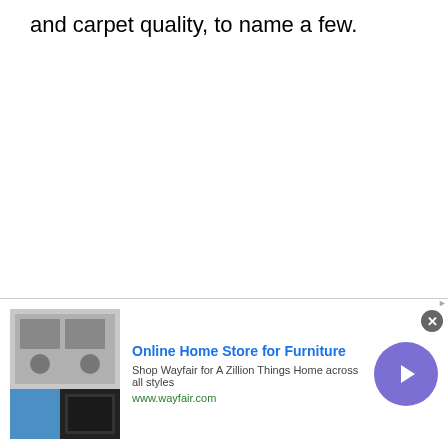and carpet quality, to name a few.
According to HGTV, most homeowners will pay $2 to $4 per square foot for good-quality
[Figure (screenshot): Advertisement banner for Wayfair Online Home Store for Furniture showing appliance images, ad title, tagline, URL, and a purple arrow button]